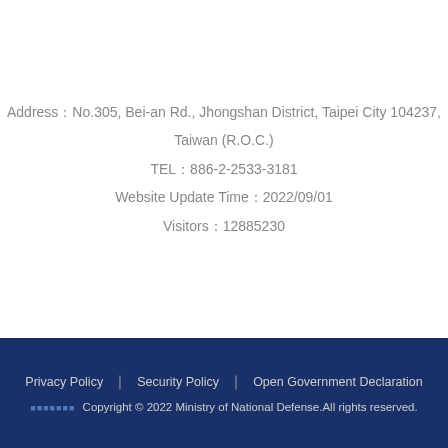Address：No.305, Bei-an Rd., Jhongshan District, Taipei City 104237, Taiwan (R.O.C.)
TEL：886-2-2533-3181
Website Update Time：2022/09/01
Visitors：12885230
Privacy Policy | Security Policy | Open Government Declaration
■■■■■■■ Copyright © 2022 Ministry of National Defense.All rights reserved.